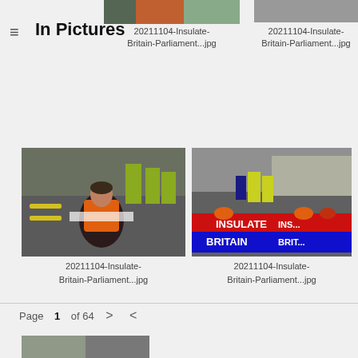[Figure (photo): Partial photo at top left, cropped — protest scene]
[Figure (photo): Partial photo at top right, cropped — protest scene with police]
In Pictures
20211104-Insulate-Britain-Parliament...jpg
20211104-Insulate-Britain-Parliament...jpg
[Figure (photo): Woman in orange hi-vis vest sitting cross-legged on road, police in background — Insulate Britain protest at Parliament]
[Figure (photo): Insulate Britain protesters sitting on road holding red and blue banners reading INSULATE BRITAIN, police officers standing around them]
20211104-Insulate-Britain-Parliament...jpg
20211104-Insulate-Britain-Parliament...jpg
Page 1 of 64
[Figure (photo): Partial photo at bottom, cropped — protest scene]